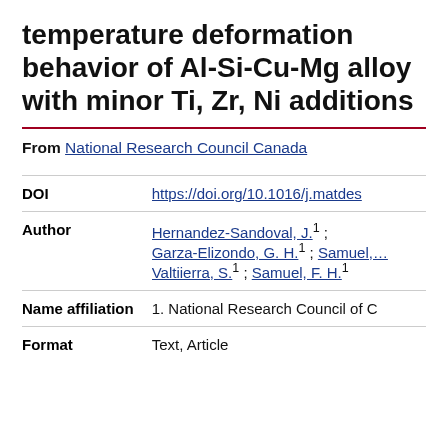temperature deformation behavior of Al-Si-Cu-Mg alloy with minor Ti, Zr, Ni additions
From National Research Council Canada
| Field | Value |
| --- | --- |
| DOI | https://doi.org/10.1016/j.matdes |
| Author | Hernandez-Sandoval, J.1 ; Garza-Elizondo, G. H.1 ; Samuel, … Valtiierra, S.1 ; Samuel, F. H.1 |
| Name affiliation | 1. National Research Council of C |
| Format | Text, Article |